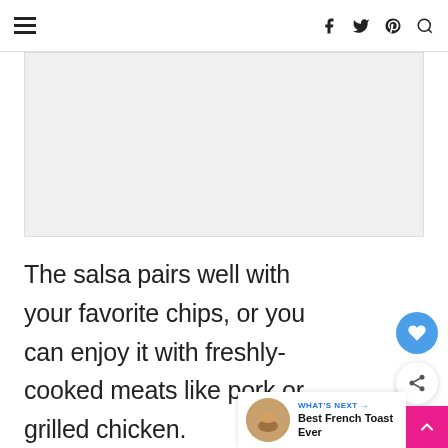≡  f  twitter  pinterest  search
[Figure (photo): Light gray placeholder image area]
The salsa pairs well with your favorite chips, or you can enjoy it with freshly-cooked meats like pork or grilled chicken.
WHAT'S NEXT → Best French Toast Ever